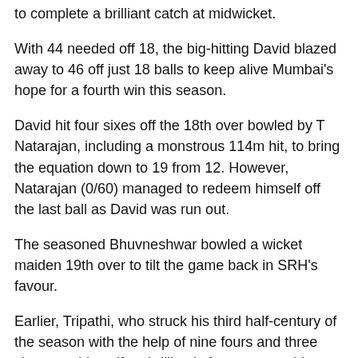to complete a brilliant catch at midwicket.
With 44 needed off 18, the big-hitting David blazed away to 46 off just 18 balls to keep alive Mumbai's hope for a fourth win this season.
David hit four sixes off the 18th over bowled by T Natarajan, including a monstrous 114m hit, to bring the equation down to 19 from 12. However, Natarajan (0/60) managed to redeem himself off the last ball as David was run out.
The seasoned Bhuvneshwar bowled a wicket maiden 19th over to tilt the game back in SRH's favour.
Earlier, Tripathi, who struck his third half-century of the season with the help of nine fours and three sixes, set himself up brilliantly for a memorable knock.